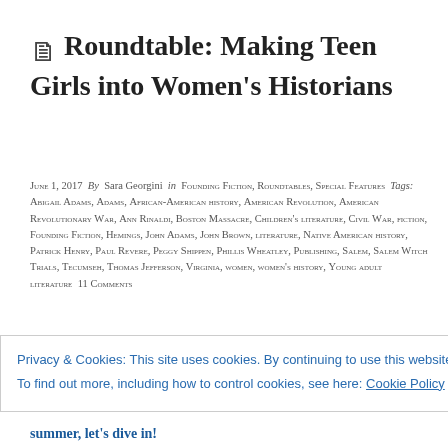Roundtable: Making Teen Girls into Women's Historians
June 1, 2017  By  Sara Georgini  in  Founding Fiction, Roundtables, Special Features  Tags: Abigail Adams, Adams, African-American history, American Revolution, American Revolutionary War, Ann Rinaldi, Boston Massacre, Children's literature, Civil War, fiction, Founding Fiction, Hemings, John Adams, John Brown, literature, Native American history, Patrick Henry, Paul Revere, Peggy Shippen, Phillis Wheatley, Publishing, Salem, Salem Witch Trials, Tecumseh, Thomas Jefferson, Virginia, women, women's history, Young adult literature  11 Comments
Privacy & Cookies: This site uses cookies. By continuing to use this website, you agree to their use.
To find out more, including how to control cookies, see here: Cookie Policy
summer, let's dive in!